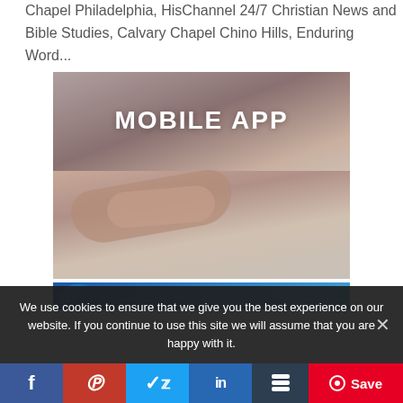Chapel Philadelphia, HisChannel 24/7 Christian News and Bible Studies, Calvary Chapel Chino Hills, Enduring Word...
[Figure (photo): Mobile App promotional image showing hands holding a phone with bold white text 'MOBILE APP' and decorative dots-and-lines divider on a warm blurred background]
We use cookies to ensure that we give you the best experience on our website. If you continue to use this site we will assume that you are happy with it.
Facebook | Pinterest | Twitter | LinkedIn | Buffer | Save